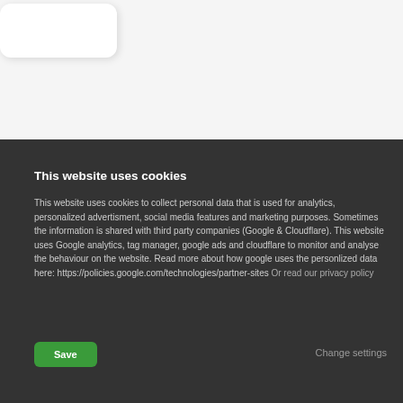[Figure (screenshot): White card/button element in top left on light grey background]
This website uses cookies
This website uses cookies to collect personal data that is used for analytics, personalized advertisment, social media features and marketing purposes. Sometimes the information is shared with third party companies (Google & Cloudflare). This website uses Google analytics, tag manager, google ads and cloudflare to monitor and analyse the behaviour on the website. Read more about how google uses the personlized data here: https://policies.google.com/technologies/partner-sites Or read our privacy policy
Save
Change settings
Environment certificate